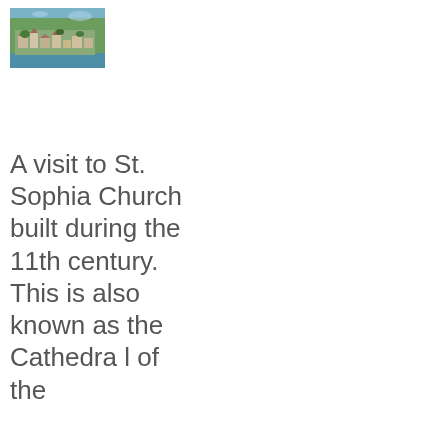[Figure (photo): Aerial or hillside view of a town with buildings and water/sea visible in the background, surrounded by green vegetation.]
A visit to St. Sophia Church built during the 11th century. This is also known as the Cathedral of the